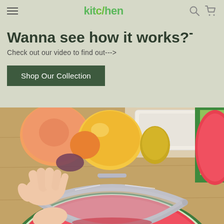kitchen
Wanna see how it works?-
Check out our video to find out--->
Shop Our Collection
[Figure (photo): A person slicing a watermelon with a stainless steel watermelon slicer/server tool. In the background are fruits including oranges, a grapefruit, and a yellow bell pepper on a wooden surface with a white container.]